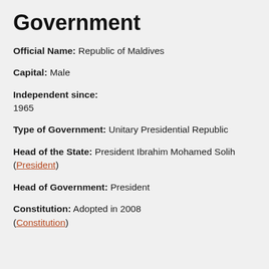Government
Official Name: Republic of Maldives
Capital: Male
Independent since: 1965
Type of Government: Unitary Presidential Republic
Head of the State: President Ibrahim Mohamed Solih (President)
Head of Government: President
Constitution: Adopted in 2008 (Constitution)